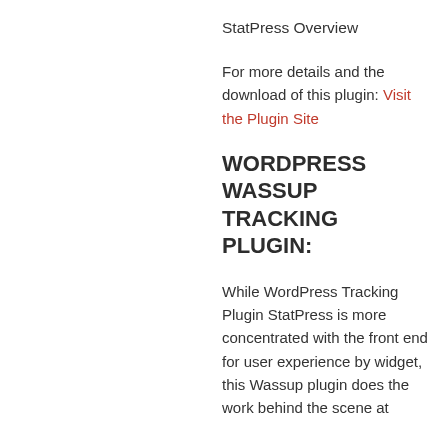StatPress Overview
For more details and the download of this plugin: Visit the Plugin Site
WORDPRESS WASSUP TRACKING PLUGIN:
While WordPress Tracking Plugin StatPress is more concentrated with the front end for user experience by widget, this Wassup plugin does the work behind the scene at